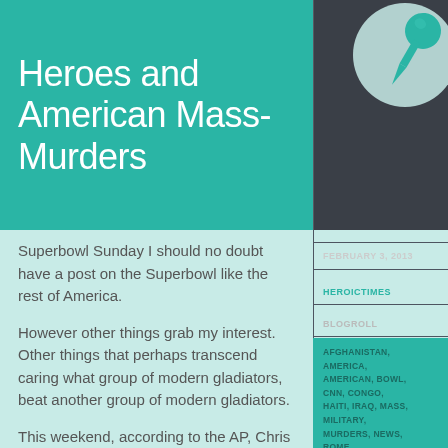Heroes and American Mass-Murders
[Figure (illustration): Teal pushpin/thumbtack icon inside a light circle on dark teal background, top-right corner]
FEBRUARY 3, 2013
HEROICTIMES
BLOGROLL
AFGHANISTAN, AMERICA, AMERICAN, BOWL, CNN, CONGO, HAITI, IRAQ, MASS, MILITARY, MURDERS, NEWS, ROME, SHOOTINGS, SUPER, SUPERBOWL, TRAGEDY, WAR
Superbowl Sunday I should no doubt have a post on the Superbowl like the rest of America.
However other things grab my interest. Other things that perhaps transcend caring what group of modern gladiators, beat another group of modern gladiators.
This weekend, according to the AP, Chris Kyle, ex-Navy Seal Sniper and author of the 2012 best-selling AMERICAN SNIPER was killed along with another veteran Chad Littlefield in a